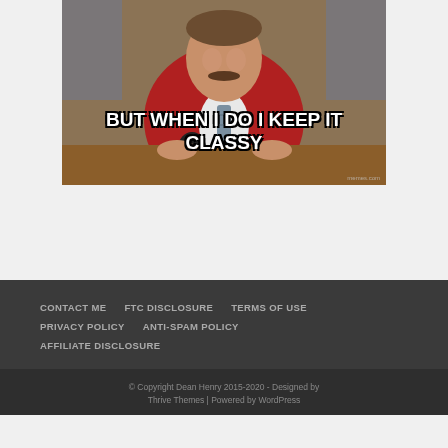[Figure (photo): Meme featuring a man in a red blazer leaning over a desk, with bold white Impact-style text reading 'BUT WHEN I DO I KEEP IT CLASSY'. Watermark reads 'memes.com' in bottom right.]
CONTACT ME   FTC DISCLOSURE   TERMS OF USE   PRIVACY POLICY   ANTI-SPAM POLICY   AFFILIATE DISCLOSURE
© Copyright Dean Henry 2015-2020  -  Designed by Thrive Themes | Powered by WordPress